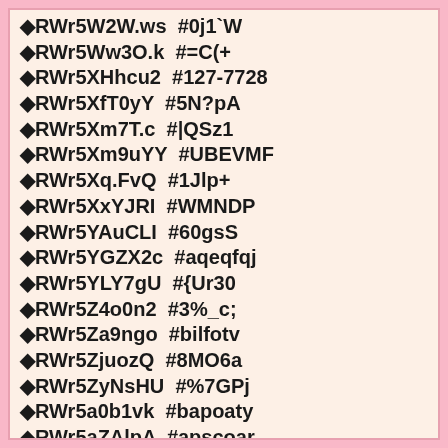◆RWr5W2W.ws  #0j1`W
◆RWr5Ww3O.k  #=C(+
◆RWr5XHhcu2  #127-7728
◆RWr5XfT0yY  #5N?pA
◆RWr5Xm7T.c  #|QSz1
◆RWr5Xm9uYY  #UBEVMF
◆RWr5Xq.FvQ  #1Jlp+
◆RWr5XxYJRI  #WMNDP
◆RWr5YAuCLI  #60gsS
◆RWr5YGZX2c  #aqeqfqj
◆RWr5YLY7gU  #{Ur30
◆RWr5Z4o0n2  #3%_c;
◆RWr5Za9ngo  #bilfotv
◆RWr5ZjuozQ  #8MO6a
◆RWr5ZyNsHU  #%7GPj
◆RWr5a0b1vk  #bapoaty
◆RWr5aZAlpA  #apscoar
◆RWr5ap/RLQ  #&lvwh
◆RWr5awFfdI  #&uw|i